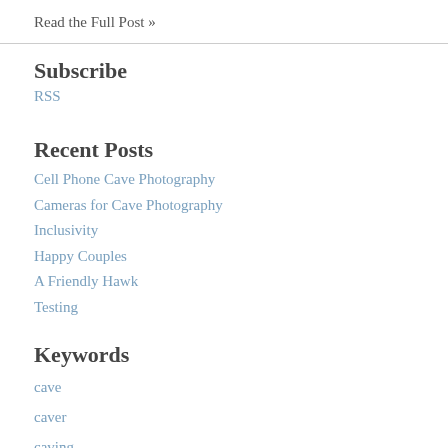Read the Full Post »
Subscribe
RSS
Recent Posts
Cell Phone Cave Photography
Cameras for Cave Photography
Inclusivity
Happy Couples
A Friendly Hawk
Testing
Keywords
cave
caver
caving